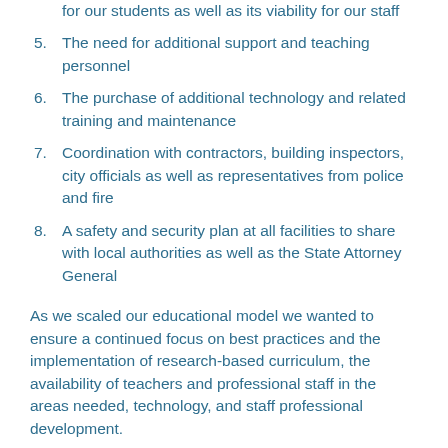...which would direct educational opportunities for our students as well as its viability for our staff
5. The need for additional support and teaching personnel
6. The purchase of additional technology and related training and maintenance
7. Coordination with contractors, building inspectors, city officials as well as representatives from police and fire
8. A safety and security plan at all facilities to share with local authorities as well as the State Attorney General
As we scaled our educational model we wanted to ensure a continued focus on best practices and the implementation of research-based curriculum, the availability of teachers and professional staff in the areas needed, technology, and staff professional development.
We were also very proactive in our community